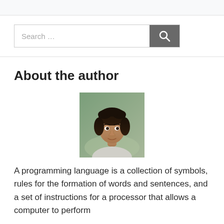[Figure (other): Search bar with text input field showing 'Search ...' placeholder and a dark grey button with a magnifying glass icon]
About the author
[Figure (photo): Headshot photo of a young man with dark curly hair, slight stubble, wearing a light shirt, with an outdoor background]
A programming language is a collection of symbols, rules for the formation of words and sentences, and a set of instructions for a processor that allows a computer to perform